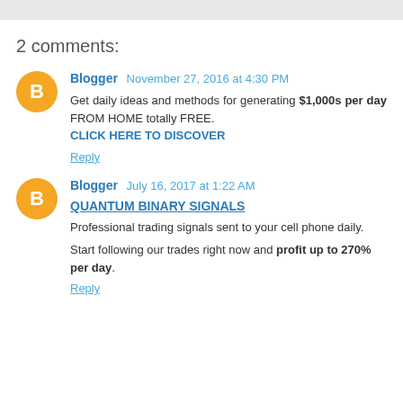2 comments:
Blogger  November 27, 2016 at 4:30 PM
Get daily ideas and methods for generating $1,000s per day FROM HOME totally FREE.
CLICK HERE TO DISCOVER
Reply
Blogger  July 16, 2017 at 1:22 AM
QUANTUM BINARY SIGNALS
Professional trading signals sent to your cell phone daily.
Start following our trades right now and profit up to 270% per day.
Reply